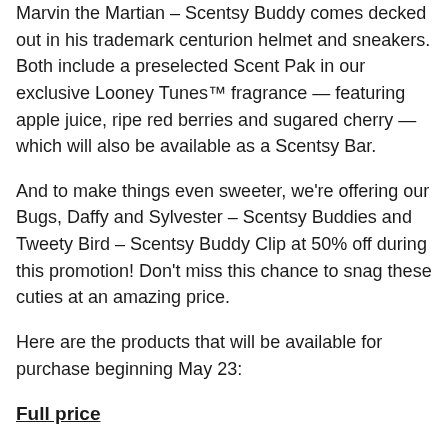Marvin the Martian – Scentsy Buddy comes decked out in his trademark centurion helmet and sneakers. Both include a preselected Scent Pak in our exclusive Looney Tunes™ fragrance — featuring apple juice, ripe red berries and sugared cherry — which will also be available as a Scentsy Bar.
And to make things even sweeter, we're offering our Bugs, Daffy and Sylvester – Scentsy Buddies and Tweety Bird – Scentsy Buddy Clip at 50% off during this promotion! Don't miss this chance to snag these cuties at an amazing price.
Here are the products that will be available for purchase beginning May 23:
Full price
Taz – Scentsy Buddy + Looney Tunes™ – Scent Pak, $40
Marvin the Martian – Scentsy Buddy + Looney